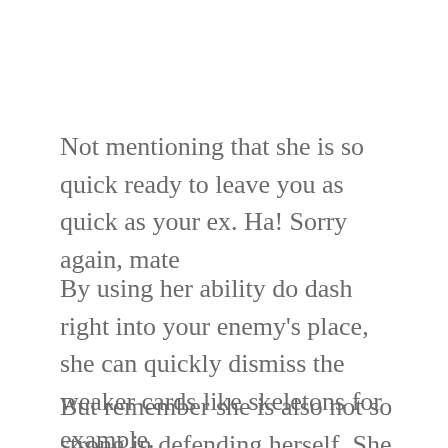Not mentioning that she is so quick ready to leave you as quick as your ex. Ha! Sorry again, mate
By using her ability do dash right into your enemy's place, she can quickly dismiss the weaker cards like skeletons for example.
But remember she is also not so strong in defending herself. She is pretty easy